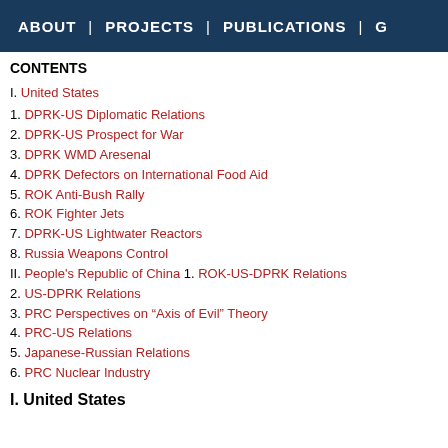ABOUT | PROJECTS | PUBLICATIONS | G
CONTENTS
I. United States
1. DPRK-US Diplomatic Relations
2. DPRK-US Prospect for War
3. DPRK WMD Aresenal
4. DPRK Defectors on International Food Aid
5. ROK Anti-Bush Rally
6. ROK Fighter Jets
7. DPRK-US Lightwater Reactors
8. Russia Weapons Control
II. People's Republic of China 1. ROK-US-DPRK Relations
2. US-DPRK Relations
3. PRC Perspectives on “Axis of Evil” Theory
4. PRC-US Relations
5. Japanese-Russian Relations
6. PRC Nuclear Industry
I. United States